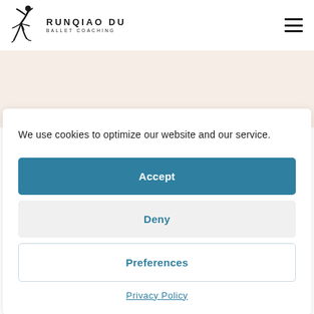RUNQIAO DU BALLET COACHING
We use cookies to optimize our website and our service.
Accept
Deny
Preferences
Privacy Policy